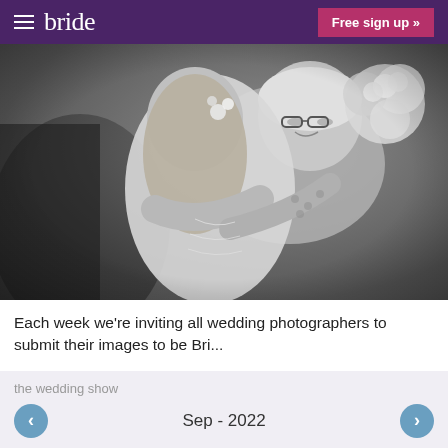bride | Free sign up »
[Figure (photo): Black and white wedding photo of a bride with flowers in her hair hugging an elderly woman who is smiling and holding a large bouquet of white flowers]
Each week we're inviting all wedding photographers to submit their images to be Bri...
the wedding show
‹  Sep - 2022  ›
Native guide